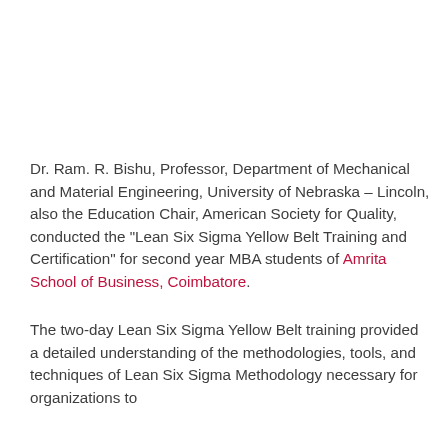Dr. Ram. R. Bishu, Professor, Department of Mechanical and Material Engineering, University of Nebraska – Lincoln, also the Education Chair, American Society for Quality, conducted the "Lean Six Sigma Yellow Belt Training and Certification" for second year MBA students of Amrita School of Business, Coimbatore.
The two-day Lean Six Sigma Yellow Belt training provided a detailed understanding of the methodologies, tools, and techniques of Lean Six Sigma Methodology necessary for organizations to enhance their quality and performance. The training